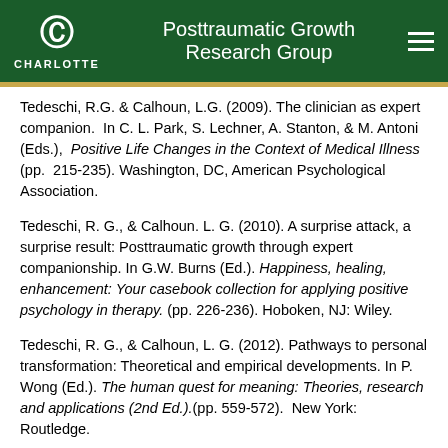Posttraumatic Growth Research Group
Tedeschi, R.G. & Calhoun, L.G. (2009). The clinician as expert companion.  In C. L. Park, S. Lechner, A. Stanton, & M. Antoni (Eds.),  Positive Life Changes in the Context of Medical Illness (pp.  215-235). Washington, DC, American Psychological Association.
Tedeschi, R. G., & Calhoun. L. G. (2010). A surprise attack, a surprise result: Posttraumatic growth through expert companionship. In G.W. Burns (Ed.). Happiness, healing, enhancement: Your casebook collection for applying positive psychology in therapy. (pp. 226-236). Hoboken, NJ: Wiley.
Tedeschi, R. G., & Calhoun, L. G. (2012). Pathways to personal transformation: Theoretical and empirical developments. In P. Wong (Ed.). The human quest for meaning: Theories, research and applications (2nd Ed.).(pp. 559-572).  New York: Routledge.
Tedeschi, R.G., & Calhoun, L. G. (2013). Working as an expert